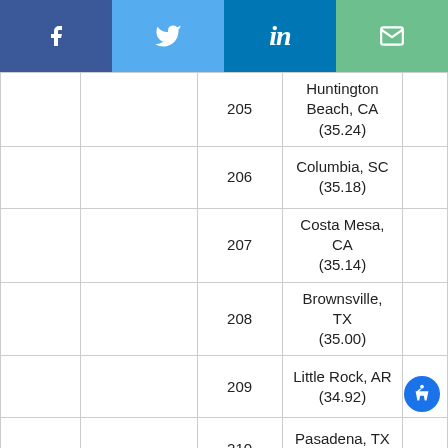[Figure (other): Social sharing bar with Facebook, Twitter, LinkedIn, and email buttons]
|  |  | Rank | City |  |
| --- | --- | --- | --- | --- |
|  |  | 205 | Huntington Beach, CA (35.24) |  |
|  |  | 206 | Columbia, SC (35.18) |  |
|  |  | 207 | Costa Mesa, CA (35.14) |  |
|  |  | 208 | Brownsville, TX (35.00) |  |
|  |  | 209 | Little Rock, AR (34.92) |  |
|  |  | 210 | Pasadena, TX (34.79) |  |
|  |  |  | ... |  |